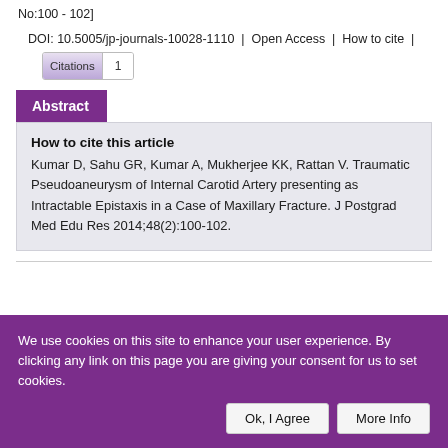No:100 - 102]
DOI: 10.5005/jp-journals-10028-1110 | Open Access | How to cite | Citations 1
Abstract
How to cite this article
Kumar D, Sahu GR, Kumar A, Mukherjee KK, Rattan V. Traumatic Pseudoaneurysm of Internal Carotid Artery presenting as Intractable Epistaxis in a Case of Maxillary Fracture. J Postgrad Med Edu Res 2014;48(2):100-102.
We use cookies on this site to enhance your user experience. By clicking any link on this page you are giving your consent for us to set cookies.